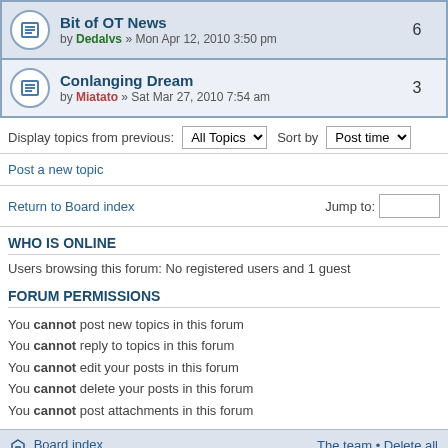Bit of OT News by Dedalvs » Mon Apr 12, 2010 3:50 pm | 6
Conlanging Dream by Miatato » Sat Mar 27, 2010 7:54 am | 3
Display topics from previous: All Topics Sort by Post time
Post a new topic
Return to Board index   Jump to:
WHO IS ONLINE
Users browsing this forum: No registered users and 1 guest
FORUM PERMISSIONS
You cannot post new topics in this forum
You cannot reply to topics in this forum
You cannot edit your posts in this forum
You cannot delete your posts in this forum
You cannot post attachments in this forum
Board index   The team • Delete all
Powered by phpBB® Forum Software © phpBB Gr